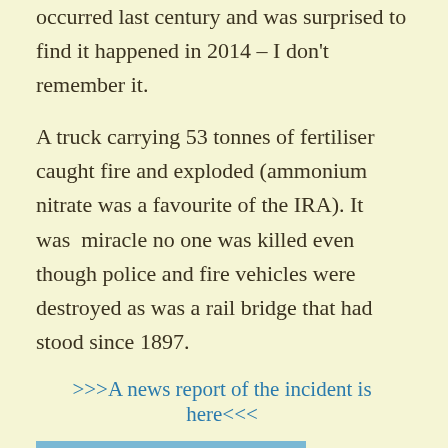occurred last century and was surprised to find it happened in 2014 – I don't remember it.
A truck carrying 53 tonnes of fertiliser caught fire and exploded (ammonium nitrate was a favourite of the IRA). It was  miracle no one was killed even though police and fire vehicles were destroyed as was a rail bridge that had stood since 1897.
>>>A news report of the incident is here<<<
[Figure (photo): A road bridge with a sign reading 'ANGELLALA CREEK HEROES BRIDGE'. The bridge is a modern concrete structure with a road surface, guardrails, and a red marker post visible. Trees and dry scrubland are visible in the background under a blue sky.]